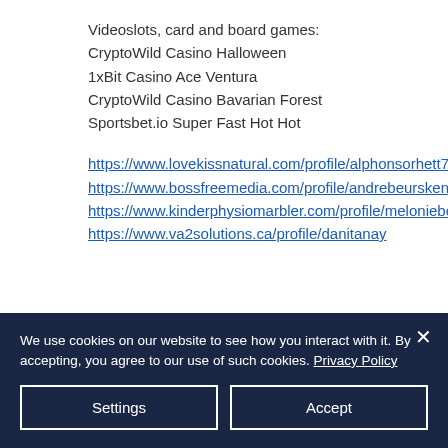Videoslots, card and board games:
CryptoWild Casino Halloween
1xBit Casino Ace Ventura
CryptoWild Casino Bavarian Forest
Sportsbet.io Super Fast Hot Hot
https://www.lovekissnatural.com/profile/alphonsorhett7936810/profile
https://www.bossfreemedia.com/profile/andrebeurskens8975165/profile
https://www.kinderphysiomarbler.com/profile/meloniebolerjack4756687/profile
https://www.va2solutions.ca/profile/danitanay
We use cookies on our website to see how you interact with it. By accepting, you agree to our use of such cookies. Privacy Policy